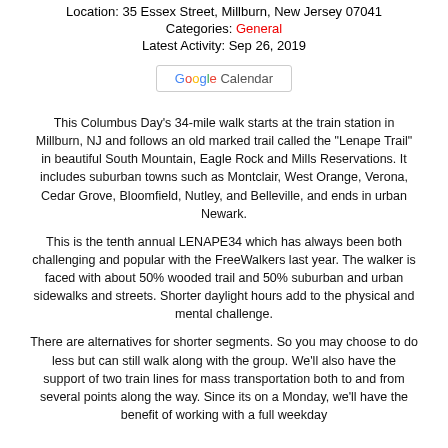Location: 35 Essex Street, Millburn, New Jersey 07041
Categories: General
Latest Activity: Sep 26, 2019
[Figure (other): Google Calendar button]
This Columbus Day's 34-mile walk starts at the train station in Millburn, NJ and follows an old marked trail called the "Lenape Trail" in beautiful South Mountain, Eagle Rock and Mills Reservations. It includes suburban towns such as Montclair, West Orange, Verona, Cedar Grove, Bloomfield, Nutley, and Belleville, and ends in urban Newark.
This is the tenth annual LENAPE34 which has always been both challenging and popular with the FreeWalkers last year. The walker is faced with about 50% wooded trail and 50% suburban and urban sidewalks and streets. Shorter daylight hours add to the physical and mental challenge.
There are alternatives for shorter segments. So you may choose to do less but can still walk along with the group. We'll also have the support of two train lines for mass transportation both to and from several points along the way. Since its on a Monday, we'll have the benefit of working with a full weekday